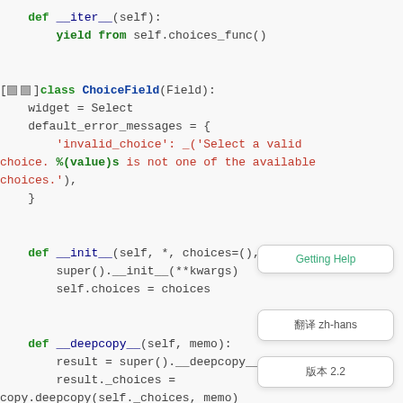[Figure (screenshot): Python source code snippet showing ChoiceField class definition with __iter__, __init__, and __deepcopy__ methods, displayed in a code editor with syntax highlighting. Floating UI tooltips for 'Getting Help', 'zh-hans', and '2.2' are visible on the right side.]